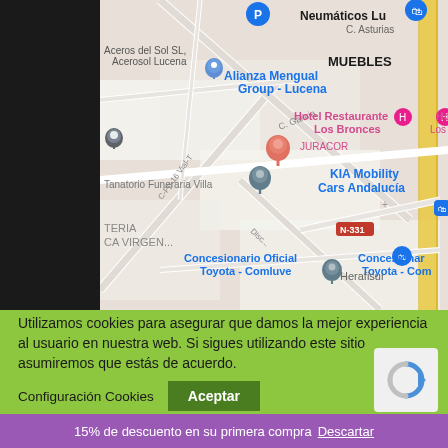[Figure (map): Google Maps screenshot showing a street map of Lucena area with business markers including Alianza Mengual Group, Hotel Restaurante Los Bronces, KIA Mobility Cars Andalucia, Concesionario Oficial Toyota - Comluve, Herafisur, Tanatorio Funeraria Villa, and others. Two pin markers visible - one grey and one salmon/red colored.]
Utilizamos cookies para asegurar que damos la mejor experiencia al usuario en nuestra web. Si sigues utilizando este sitio asumiremos que estás de acuerdo.
Configuración Cookies   Aceptar
15% de descuento en su primera compra Descartar